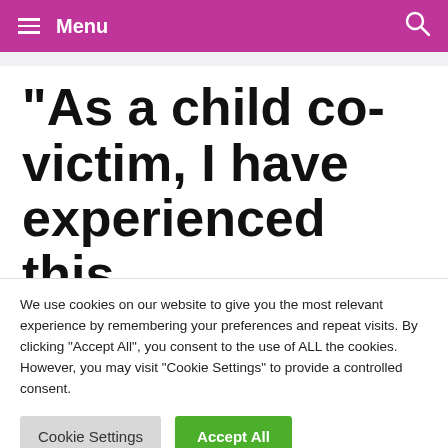Menu
“As a child co-victim, I have experienced this
We use cookies on our website to give you the most relevant experience by remembering your preferences and repeat visits. By clicking “Accept All”, you consent to the use of ALL the cookies. However, you may visit "Cookie Settings" to provide a controlled consent.